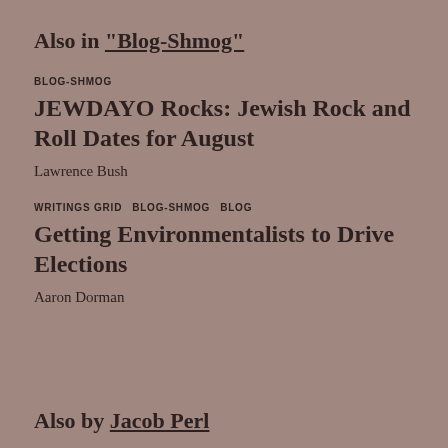Also in “Blog-Shmog”
BLOG-SHMOG
JEWDAYO Rocks: Jewish Rock and Roll Dates for August
Lawrence Bush
WRITINGS GRID   BLOG-SHMOG   BLOG
Getting Environmentalists to Drive Elections
Aaron Dorman
Also by Jacob Perl